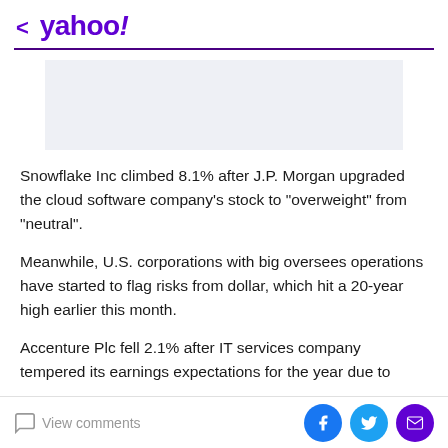< yahoo!
[Figure (other): Advertisement placeholder - light blue-grey rectangular banner]
Snowflake Inc climbed 8.1% after J.P. Morgan upgraded the cloud software company's stock to "overweight" from "neutral".
Meanwhile, U.S. corporations with big oversees operations have started to flag risks from dollar, which hit a 20-year high earlier this month.
Accenture Plc fell 2.1% after IT services company tempered its earnings expectations for the year due to
View comments